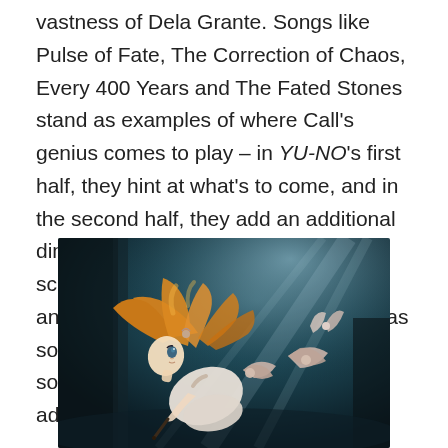vastness of Dela Grante. Songs like Pulse of Fate, The Correction of Chaos, Every 400 Years and The Fated Stones stand as examples of where Call's genius comes to play – in YU-NO's first half, they hint at what's to come, and in the second half, they add an additional dimension to what viewers see on screen. The interplay between music and visuals in the anime adaptation was solid, and as consequently, of all the soundtracks, I enjoyed the anime adaptation's the most.
[Figure (illustration): Anime-style illustration of a blonde girl in a white dress with a bow, leaning forward, against a dark teal/blue background.]